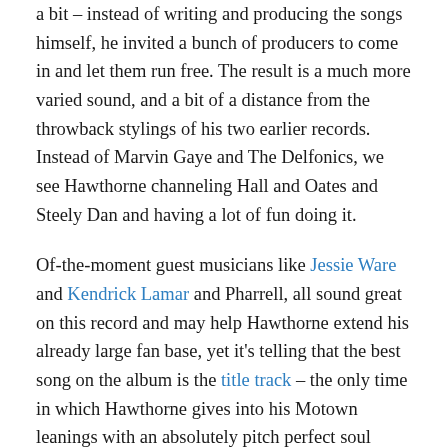a bit – instead of writing and producing the songs himself, he invited a bunch of producers to come in and let them run free. The result is a much more varied sound, and a bit of a distance from the throwback stylings of his two earlier records. Instead of Marvin Gaye and The Delfonics, we see Hawthorne channeling Hall and Oates and Steely Dan and having a lot of fun doing it.
Of-the-moment guest musicians like Jessie Ware and Kendrick Lamar and Pharrell, all sound great on this record and may help Hawthorne extend his already large fan base, yet it's telling that the best song on the album is the title track – the only time in which Hawthorne gives into his Motown leanings with an absolutely pitch perfect soul ditty.
Still, Where Does This Door Go is an album that plays out